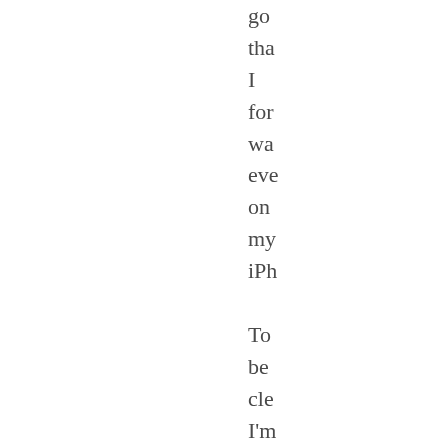go
tha
I
for
wa
eve
on
my
iPh

To
be
cle
I'm
not
bla
the
As
the